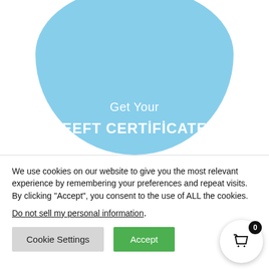[Figure (illustration): A large light-blue circle/badge graphic centered in the upper half of the page, containing the text 'Get Your' and 'EEFT CERTIFICATE' in white.]
We use cookies on our website to give you the most relevant experience by remembering your preferences and repeat visits. By clicking “Accept”, you consent to the use of ALL the cookies.
Do not sell my personal information.
Cookie Settings
Accept